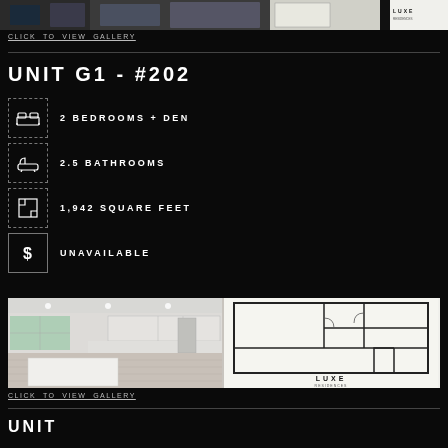[Figure (photo): Top strip showing interior room photos and a floor plan with LUXE branding]
CLICK TO VIEW GALLERY
UNIT G1 - #202
2 BEDROOMS + DEN
2.5 BATHROOMS
1,942 SQUARE FEET
UNAVAILABLE
[Figure (photo): Bottom strip showing a modern white kitchen interior photo on the left and a floor plan blueprint with LUXE branding on the right]
CLICK TO VIEW GALLERY